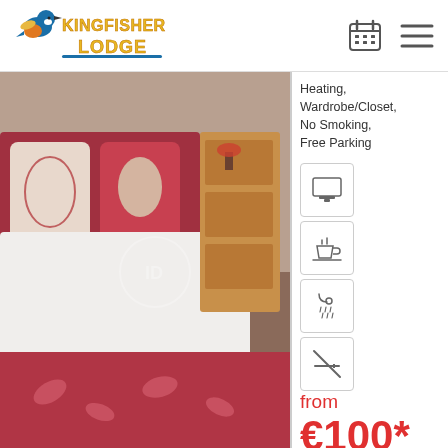[Figure (logo): Kingfisher Lodge logo with kingfisher bird illustration and stylized text]
Heating, Wardrobe/Closet, No Smoking, Free Parking
[Figure (infographic): Four amenity icons: TV/monitor, tea/coffee maker, shower, no smoking]
from
€100*
Details